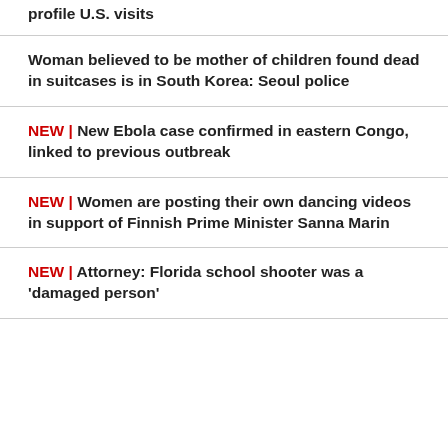profile U.S. visits
Woman believed to be mother of children found dead in suitcases is in South Korea: Seoul police
NEW | New Ebola case confirmed in eastern Congo, linked to previous outbreak
NEW | Women are posting their own dancing videos in support of Finnish Prime Minister Sanna Marin
NEW | Attorney: Florida school shooter was a 'damaged person'